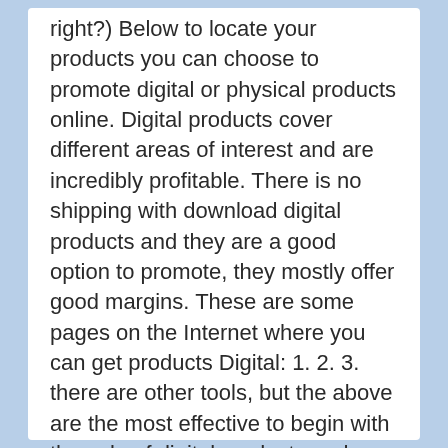right?) Below to locate your products you can choose to promote digital or physical products online. Digital products cover different areas of interest and are incredibly profitable. There is no shipping with download digital products and they are a good option to promote, they mostly offer good margins. These are some pages on the Internet where you can get products Digital: 1. 2. 3. there are other tools, but the above are the most effective to begin with the sale of digital products and download them directly online.